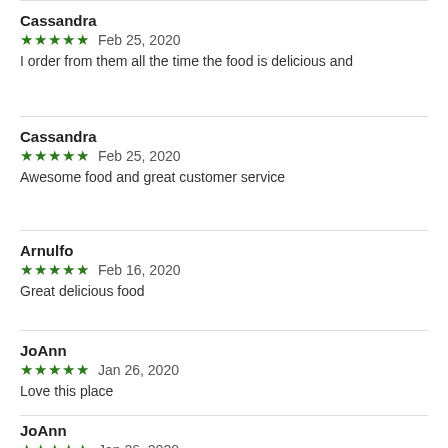Cassandra
★★★★★  Feb 25, 2020
I order from them all the time the food is delicious and
Cassandra
★★★★★  Feb 25, 2020
Awesome food and great customer service
Arnulfo
★★★★★  Feb 16, 2020
Great delicious food
JoAnn
★★★★★  Jan 26, 2020
Love this place
JoAnn
★★★★★  Jan 26, 2020